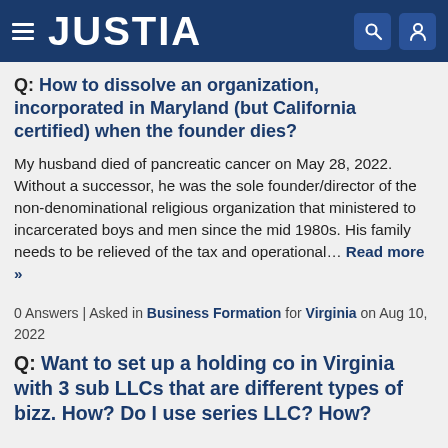JUSTIA
Q: How to dissolve an organization, incorporated in Maryland (but California certified) when the founder dies?
My husband died of pancreatic cancer on May 28, 2022. Without a successor, he was the sole founder/director of the non-denominational religious organization that ministered to incarcerated boys and men since the mid 1980s. His family needs to be relieved of the tax and operational… Read more »
0 Answers | Asked in Business Formation for Virginia on Aug 10, 2022
Q: Want to set up a holding co in Virginia with 3 sub LLCs that are different types of bizz. How? Do I use series LLC? How?